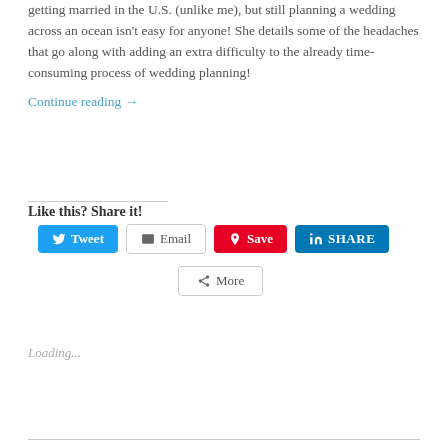getting married in the U.S. (unlike me), but still planning a wedding across an ocean isn't easy for anyone! She details some of the headaches that go along with adding an extra difficulty to the already time-consuming process of wedding planning!
Continue reading →
Like this? Share it!
[Figure (screenshot): Social sharing buttons: Tweet (blue), Email (white/gray border), Save (red Pinterest), SHARE (blue LinkedIn), More (white/gray border)]
Loading...